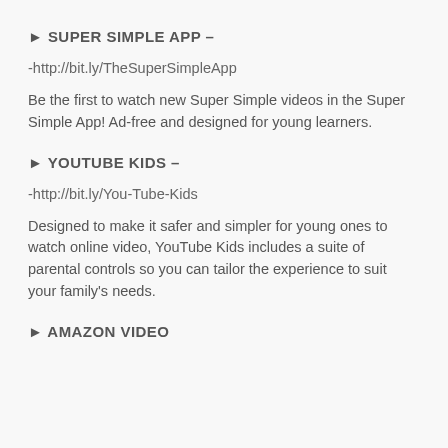► SUPER SIMPLE APP –
-http://bit.ly/TheSuperSimpleApp
Be the first to watch new Super Simple videos in the Super Simple App! Ad-free and designed for young learners.
► YOUTUBE KIDS –
-http://bit.ly/You-Tube-Kids
Designed to make it safer and simpler for young ones to watch online video, YouTube Kids includes a suite of parental controls so you can tailor the experience to suit your family's needs.
► AMAZON VIDEO